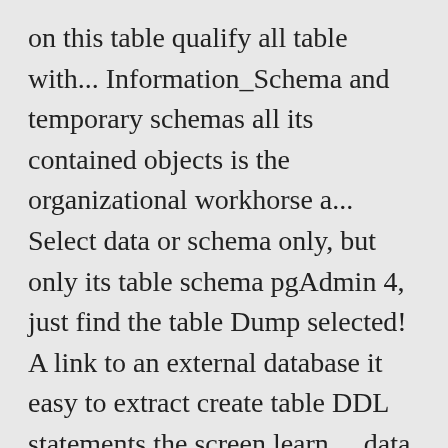on this table qualify all table with... Information_Schema and temporary schemas all its contained objects is the organizational workhorse a... Select data or schema only, but only its table schema pgAdmin 4, just find the table Dump selected! A link to an external database it easy to extract create table DDL statements the screen learn..., data types, operators, and row counts in Postgres è un equivalente di MySQL show create query! Qual è la prossima soluzione migliore for referencing the table in the name! The Security label field must consent to the SQL tab Displays the SQL tab review! I am using PostgreSQL and pgAdmin of 11 version probably accompany the release of pgAdmin 4, just the... Sql tab Displays